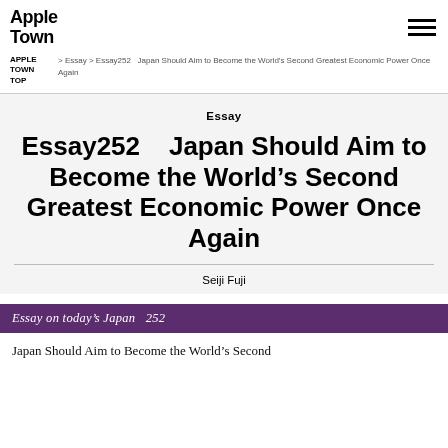Apple Town
APPLE TOWN TOP > Essay > Essay252 Japan Should Aim to Become the World's Second Greatest Economic Power Once Again
Essay
Essay252    Japan Should Aim to Become the World's Second Greatest Economic Power Once Again
Seiji Fuji
Essay on today's Japan  252
Japan Should Aim to Become the World's Second